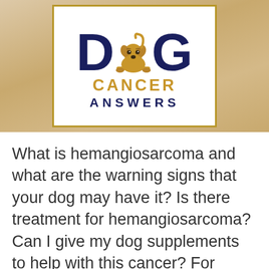[Figure (logo): Dog Cancer Answers podcast logo with cartoon dog between stylized D and G letters, with CANCER ANSWERS text below, on beige/tan gradient background with gold border]
What is hemangiosarcoma and what are the warning signs that your dog may have it? Is there treatment for hemangiosarcoma? Can I give my dog supplements to help with this cancer? For advice and answers to these common parent questions, this episode has it all.